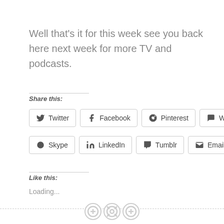Well that's it for this week see you back here next week for more TV and podcasts.
Share this:
Twitter
Facebook
Pinterest
WhatsApp
Skype
LinkedIn
Tumblr
Email
Like this:
Loading...